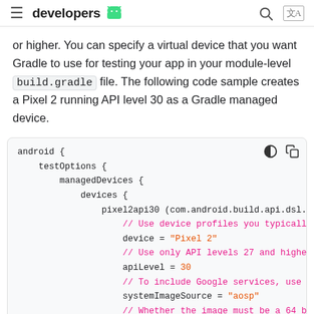≡ developers 🤖
or higher. You can specify a virtual device that you want Gradle to use for testing your app in your module-level build.gradle file. The following code sample creates a Pixel 2 running API level 30 as a Gradle managed device.
[Figure (screenshot): Code block showing Gradle managed device configuration: android { testOptions { managedDevices { devices { pixel2api30 (com.android.build.api.dsl.Ma... // Use device profiles you typically se... device = "Pixel 2" // Use only API levels 27 and higher. apiLevel = 30 // To include Google services, use "goo... systemImageSource = "aosp" // Whether the image must be a 64 bit i... // in which case the managed device wil... } } } }]